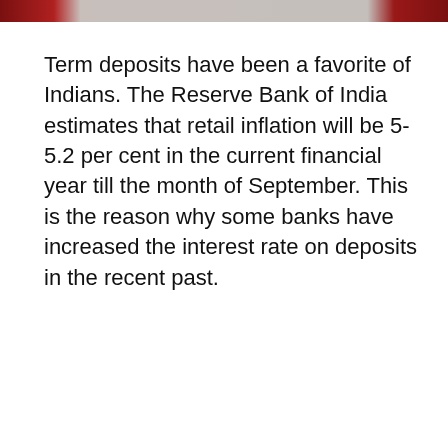[Figure (photo): Decorative header image strip with reddish-brown tones at left and right edges and a lighter center area]
Term deposits have been a favorite of Indians. The Reserve Bank of India estimates that retail inflation will be 5-5.2 per cent in the current financial year till the month of September. This is the reason why some banks have increased the interest rate on deposits in the recent past.